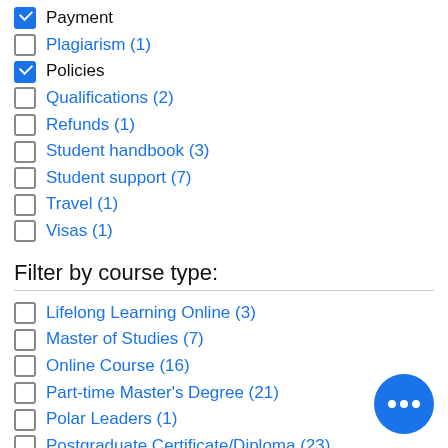Payment (checked)
Plagiarism (1)
Policies (checked)
Qualifications (2)
Refunds (1)
Student handbook (3)
Student support (7)
Travel (1)
Visas (1)
Filter by course type:
Lifelong Learning Online (3)
Master of Studies (7)
Online Course (16)
Part-time Master's Degree (21)
Polar Leaders (1)
Postgraduate Certificate/Diploma (23)